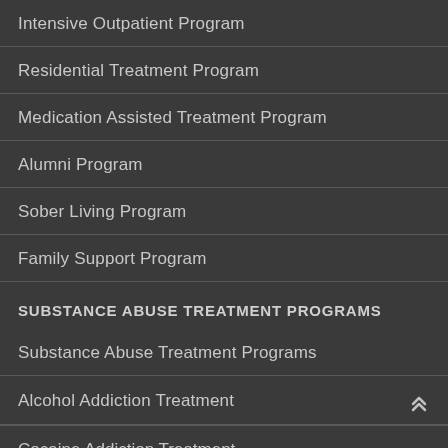Intensive Outpatient Program
Residential Treatment Program
Medication Assisted Treatment Program
Alumni Program
Sober Living Program
Family Support Program
SUBSTANCE ABUSE TREATMENT PROGRAMS
Substance Abuse Treatment Programs
Alcohol Addiction Treatment
Cocaine Addiction Treatment